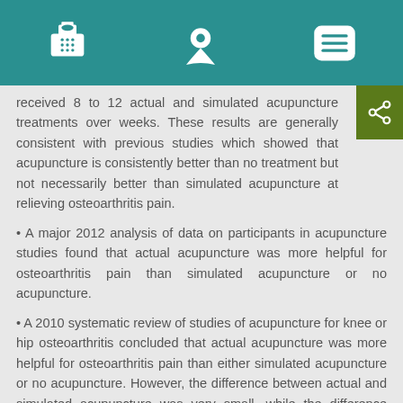[Navigation bar with phone, location, and menu icons]
received 8 to 12 actual and simulated acupuncture treatments over weeks. These results are generally consistent with previous studies which showed that acupuncture is consistently better than no treatment but not necessarily better than simulated acupuncture at relieving osteoarthritis pain.
• A major 2012 analysis of data on participants in acupuncture studies found that actual acupuncture was more helpful for osteoarthritis pain than simulated acupuncture or no acupuncture.
• A 2010 systematic review of studies of acupuncture for knee or hip osteoarthritis concluded that actual acupuncture was more helpful for osteoarthritis pain than either simulated acupuncture or no acupuncture. However, the difference between actual and simulated acupuncture was very small, while the difference between acupuncture and no acupuncture was large.
For Headache